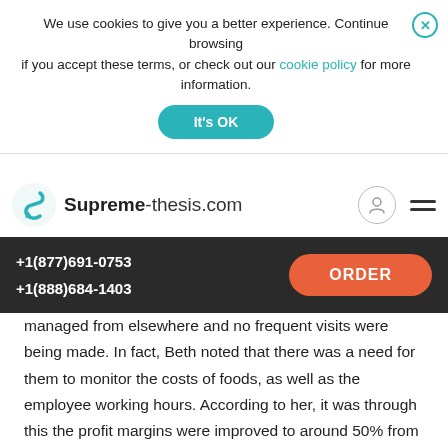We use cookies to give you a better experience. Continue browsing if you accept these terms, or check out our cookie policy for more information.
It's OK
[Figure (logo): Supreme-thesis.com logo with stylized S arrow icon]
+1(877)691-0753 +1(888)684-1403
ORDER
managed from elsewhere and no frequent visits were being made. In fact, Beth noted that there was a need for them to monitor the costs of foods, as well as the employee working hours. According to her, it was through this the profit margins were improved to around 50% from the thirties that they used to be in at the time of acquisition. Also to note is that in that process of acquisition, not all members of the former stores were retained. This happened with a view to reduce the cost of operation of these centers which were acquired.